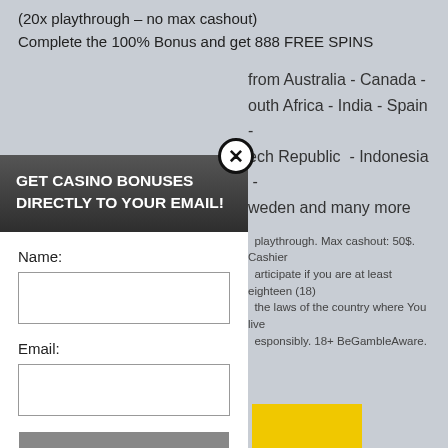(20x playthrough – no max cashout)
Complete the 100% Bonus and get 888 FREE SPINS
from Australia - Canada - South Africa - India - Spain - Czech Republic - Indonesia - Sweden and many more
playthrough. Max cashout: 50$. Cashier participate if you are at least eighteen (18) the laws of the country where You live esponsibly. 18+ BeGambleAware.
perience, we use Using this site, kie & privacy policy.
[Figure (screenshot): Modal popup overlay with dark header 'GET CASINO BONUSES DIRECTLY TO YOUR EMAIL!', name field, email field, Submit button, and footer privacy text. Close button (X) at top. Yellow box visible in background.]
GET CASINO BONUSES DIRECTLY TO YOUR EMAIL!
Name:
Email:
Submit
By subscribing you are certifying that you have reviewed and accepted our updated Privacy and Cookie policy.